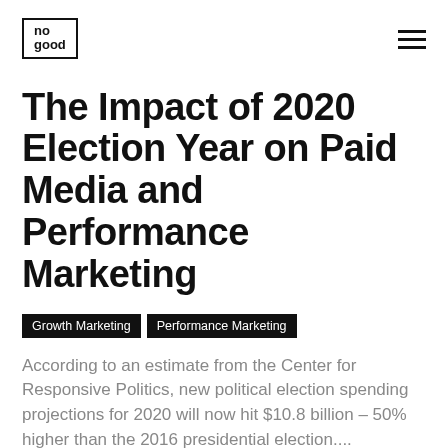no good
The Impact of 2020 Election Year on Paid Media and Performance Marketing
Growth Marketing
Performance Marketing
According to an estimate from the Center for Responsive Politics, new political election spending projections for 2020 will now hit $10.8 billion – 50% higher than the 2016 presidential election....